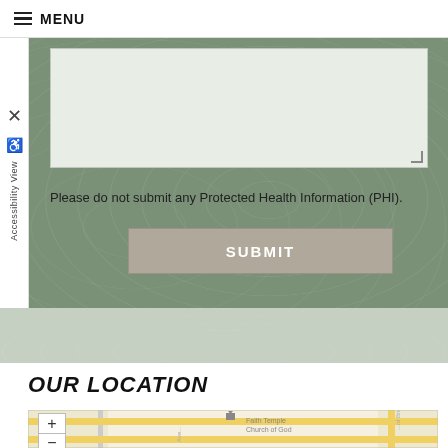MENU
Please do not submit any Protected Health Information (PHI).
SUBMIT
OUR LOCATION
[Figure (map): Street map showing Faith Temple Church of God location with zoom in/out controls, street grid with yellow roads, and map labels.]